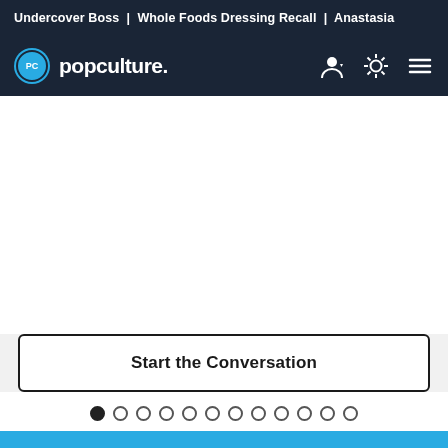Undercover Boss | Whole Foods Dressing Recall | Anastasia
[Figure (logo): Popculture.com logo with PC circle icon and navigation icons (user, theme toggle, hamburger menu)]
Start the Conversation
[Figure (infographic): Carousel dot navigation with 12 dots, first dot filled]
[Figure (other): Blue bar at bottom of page]